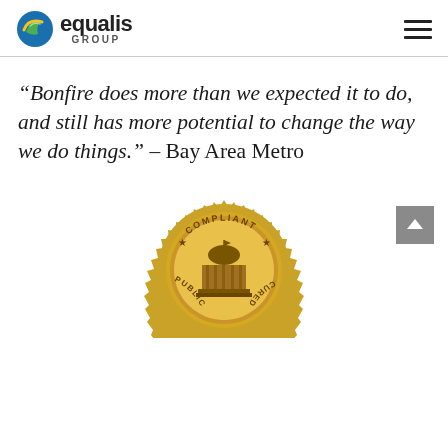equalis GROUP
“Bonfire does more than we expected it to do, and still has more potential to change the way we do things.” – Bay Area Metro
[Figure (illustration): Gold compliance seal badge with text 'COMPLIANT' at top, 'PUBLIC' on left side, 'CURED' on right side, and a government building/capitol dome icon in the center]